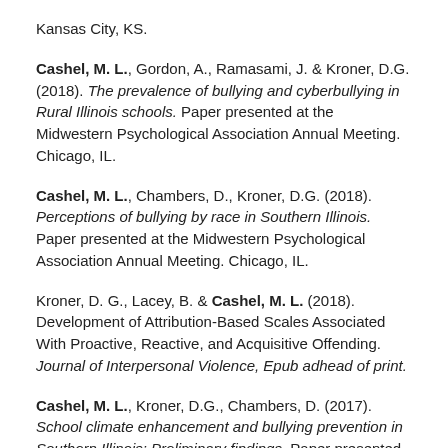Kansas City, KS.
Cashel, M. L., Gordon, A., Ramasami, J. & Kroner, D.G. (2018). The prevalence of bullying and cyberbullying in Rural Illinois schools. Paper presented at the Midwestern Psychological Association Annual Meeting. Chicago, IL.
Cashel, M. L., Chambers, D., Kroner, D.G. (2018). Perceptions of bullying by race in Southern Illinois. Paper presented at the Midwestern Psychological Association Annual Meeting. Chicago, IL.
Kroner, D. G., Lacey, B. & Cashel, M. L. (2018). Development of Attribution-Based Scales Associated With Proactive, Reactive, and Acquisitive Offending. Journal of Interpersonal Violence, Epub adhead of print.
Cashel, M. L., Kroner, D.G., Chambers, D. (2017). School climate enhancement and bullying prevention in Southern Illinois: Preliminary findings. Paper presented at the